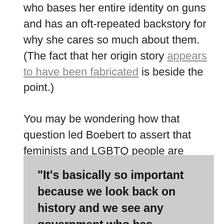who bases her entire identity on guns and has an oft-repeated backstory for why she cares so much about them. (The fact that her origin story appears to have been fabricated is beside the point.)
You may be wondering how that question led Boebert to assert that feminists and LGBTQ people are united only in their objective to bring communism to the United States. Here is Boebert's full answer, which will still not clear things up:
“It’s basically so important because we look back on history and we see any government who has disarmed its people has done very bad things to their people, that’s where we have mass genocides and